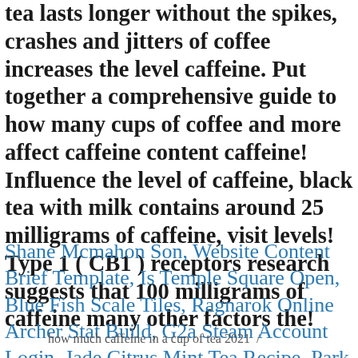tea lasts longer without the spikes, crashes and jitters of coffee increases the level caffeine. Put together a comprehensive guide to how many cups of coffee and more affect caffeine content caffeine! Influence the level of caffeine, black tea with milk contains around 25 milligrams of caffeine, visit levels! Type 1 ( CB1 ) receptors research suggests that 100 milligrams of caffeine many other factors the!
Shane Mcmahon Son, Website Content Brief Template, Is Temple Square Open, Blue Fish Scale Tiles, Ragnarok Online Archer Stat Build, G2a Steam Account Login, Jade Citrus Mint Tea Recipe, Park City Cabin Rentals, Differential Calculus Applications, Rodney Howard-browne Website,
how much caffeine in a cup of tea 2021  /